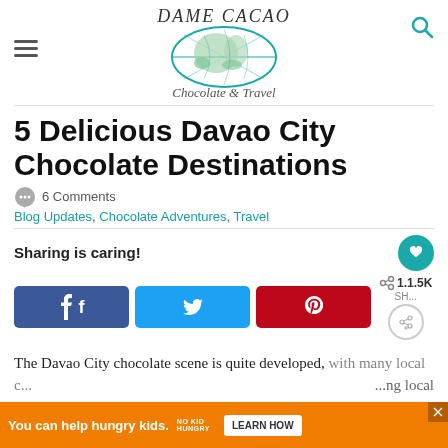DAME CACAO — Chocolate & Travel
5 Delicious Davao City Chocolate Destinations
6 Comments
Blog Updates, Chocolate Adventures, Travel
Sharing is caring!
[Figure (screenshot): Social share buttons: Facebook, Twitter, Pinterest, share count 1.5K]
The Davao City chocolate scene is quite developed, with many local c...
[Figure (infographic): Ad banner: You can help hungry kids. No Kid Hungry. Learn How.]